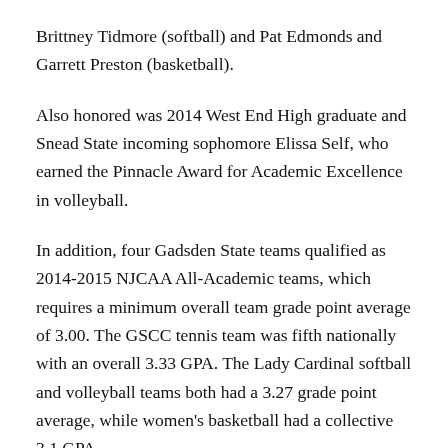Brittney Tidmore (softball) and Pat Edmonds and Garrett Preston (basketball).
Also honored was 2014 West End High graduate and Snead State incoming sophomore Elissa Self, who earned the Pinnacle Award for Academic Excellence in volleyball.
In addition, four Gadsden State teams qualified as 2014-2015 NJCAA All-Academic teams, which requires a minimum overall team grade point average of 3.00. The GSCC tennis team was fifth nationally with an overall 3.33 GPA. The Lady Cardinal softball and volleyball teams both had a 3.27 grade point average, while women's basketball had a collective 3.1 GPA.